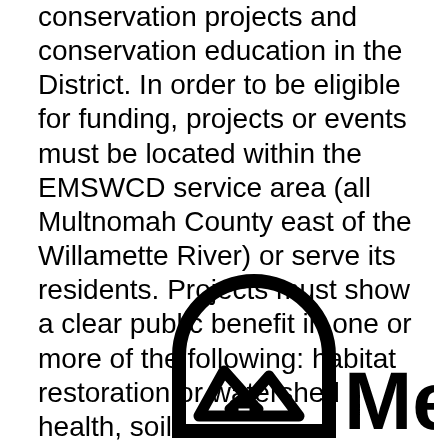conservation projects and conservation education in the District. In order to be eligible for funding, projects or events must be located within the EMSWCD service area (all Multnomah County east of the Willamette River) or serve its residents. Projects must show a clear public benefit in one or more of the following: habitat restoration or watershed health, soil erosion prevention/control, soil health, water quality, water conservation, and/or environmental education.
[Figure (logo): Metro logo: circular arch icon with mountain/leaf design and the word 'Metro' in bold sans-serif text]